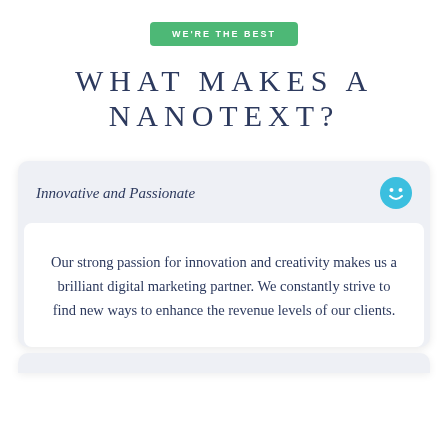WE'RE THE BEST
WHAT MAKES A NANOTEXT?
Innovative and Passionate
Our strong passion for innovation and creativity makes us a brilliant digital marketing partner. We constantly strive to find new ways to enhance the revenue levels of our clients.